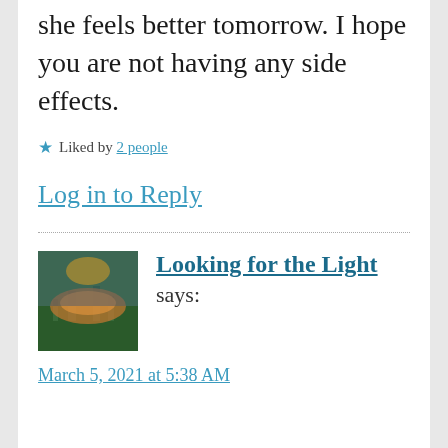she feels better tomorrow. I hope you are not having any side effects.
★ Liked by 2 people
Log in to Reply
Looking for the Light says:
March 5, 2021 at 5:38 AM